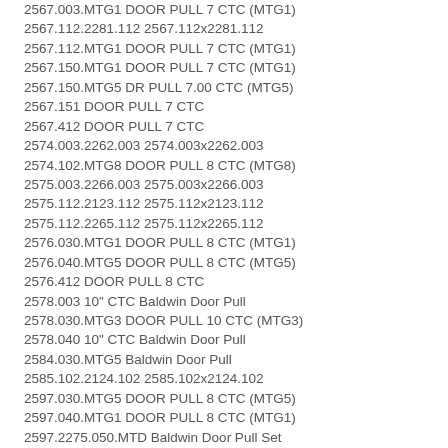2567.003.MTG1 DOOR PULL 7 CTC (MTG1)
2567.112.2281.112 2567.112x2281.112
2567.112.MTG1 DOOR PULL 7 CTC (MTG1)
2567.150.MTG1 DOOR PULL 7 CTC (MTG1)
2567.150.MTG5 DR PULL 7.00 CTC (MTG5)
2567.151 DOOR PULL 7 CTC
2567.412 DOOR PULL 7 CTC
2574.003.2262.003 2574.003x2262.003
2574.102.MTG8 DOOR PULL 8 CTC (MTG8)
2575.003.2266.003 2575.003x2266.003
2575.112.2123.112 2575.112x2123.112
2575.112.2265.112 2575.112x2265.112
2576.030.MTG1 DOOR PULL 8 CTC (MTG1)
2576.040.MTG5 DOOR PULL 8 CTC (MTG5)
2576.412 DOOR PULL 8 CTC
2578.003 10" CTC Baldwin Door Pull
2578.030.MTG3 DOOR PULL 10 CTC (MTG3)
2578.040 10" CTC Baldwin Door Pull
2584.030.MTG5 Baldwin Door Pull
2585.102.2124.102 2585.102x2124.102
2597.030.MTG5 DOOR PULL 8 CTC (MTG5)
2597.040.MTG1 DOOR PULL 8 CTC (MTG1)
2597.2275.050.MTD Baldwin Door Pull Set
1041.055.I Square Corner Baldwin BB Hinge